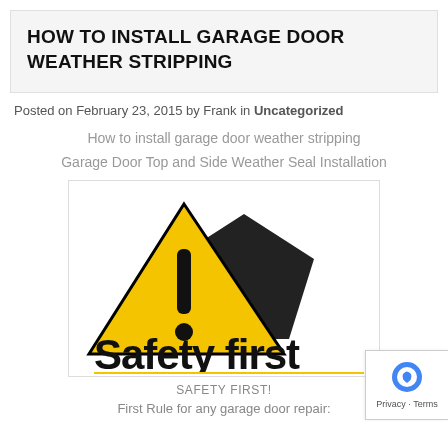HOW TO INSTALL GARAGE DOOR WEATHER STRIPPING
Posted on February 23, 2015 by Frank in Uncategorized
How to install garage door weather stripping
Garage Door Top and Side Weather Seal Installation
[Figure (illustration): Safety First logo: yellow warning triangle with exclamation mark and dark arrow shape, with bold text 'Safety first' and yellow underline]
SAFETY FIRST!
First Rule for any garage door repair: